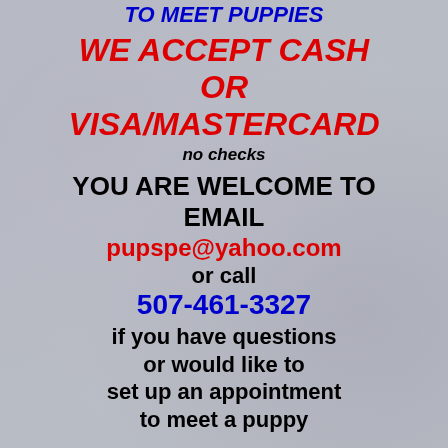TO MEET PUPPIES
WE ACCEPT CASH OR VISA/MASTERCARD
no checks
YOU ARE WELCOME TO EMAIL pupspe@yahoo.com or call 507-461-3327 if you have questions or would like to set up an appointment to meet a puppy